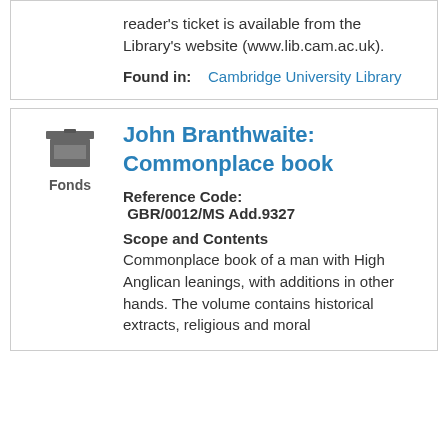reader's ticket is available from the Library's website (www.lib.cam.ac.uk).
Found in:   Cambridge University Library
[Figure (illustration): Archive box / fonds icon with label 'Fonds' below]
John Branthwaite: Commonplace book
Reference Code:  GBR/0012/MS Add.9327
Scope and Contents
Commonplace book of a man with High Anglican leanings, with additions in other hands. The volume contains historical extracts, religious and moral